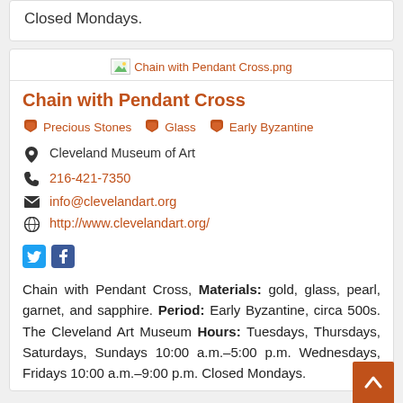Closed Mondays.
[Figure (illustration): Broken image placeholder labeled 'Chain with Pendant Cross.png']
Chain with Pendant Cross
Precious Stones
Glass
Early Byzantine
Cleveland Museum of Art
216-421-7350
info@clevelandart.org
http://www.clevelandart.org/
Chain with Pendant Cross, Materials: gold, glass, pearl, garnet, and sapphire. Period: Early Byzantine, circa 500s. The Cleveland Art Museum Hours: Tuesdays, Thursdays, Saturdays, Sundays 10:00 a.m.–5:00 p.m. Wednesdays, Fridays 10:00 a.m.–9:00 p.m. Closed Mondays.